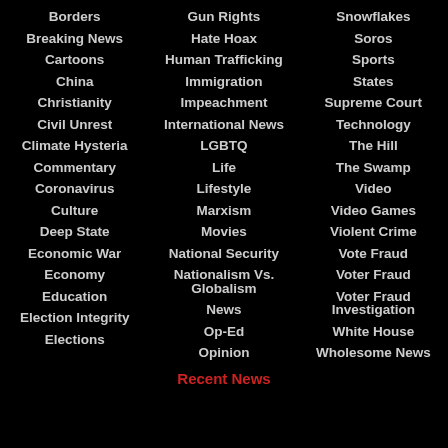Borders
Breaking News
Cartoons
China
Christianity
Civil Unrest
Climate Hysteria
Commentary
Coronavirus
Culture
Deep State
Economic War
Economy
Education
Election Integrity
Elections
Gun Rights
Hate Hoax
Human Trafficking
Immigration
Impeachment
International News
LGBTQ
Life
Lifestyle
Marxism
Movies
National Security
Nationalism Vs. Globalism
News
Op-Ed
Opinion
Snowflakes
Soros
Sports
States
Supreme Court
Technology
The Hill
The Swamp
Video
Video Games
Violent Crime
Vote Fraud
Voter Fraud
Voter Fraud Investigation
White House
Wholesome News
Recent News